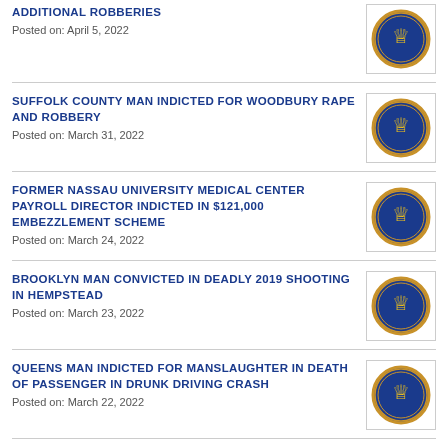ADDITIONAL ROBBERIES
Posted on: April 5, 2022
SUFFOLK COUNTY MAN INDICTED FOR WOODBURY RAPE AND ROBBERY
Posted on: March 31, 2022
FORMER NASSAU UNIVERSITY MEDICAL CENTER PAYROLL DIRECTOR INDICTED IN $121,000 EMBEZZLEMENT SCHEME
Posted on: March 24, 2022
BROOKLYN MAN CONVICTED IN DEADLY 2019 SHOOTING IN HEMPSTEAD
Posted on: March 23, 2022
QUEENS MAN INDICTED FOR MANSLAUGHTER IN DEATH OF PASSENGER IN DRUNK DRIVING CRASH
Posted on: March 22, 2022